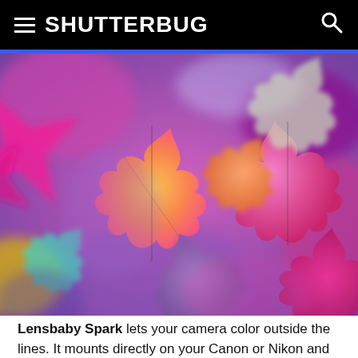SHUTTERBUG
[Figure (photo): Close-up photograph of colorful autumn maple leaves with vibrant pink, magenta, orange, yellow, and purple hues, softly blurred with a bokeh effect.]
Lensbaby Spark lets your camera color outside the lines. It mounts directly on your Canon or Nikon and